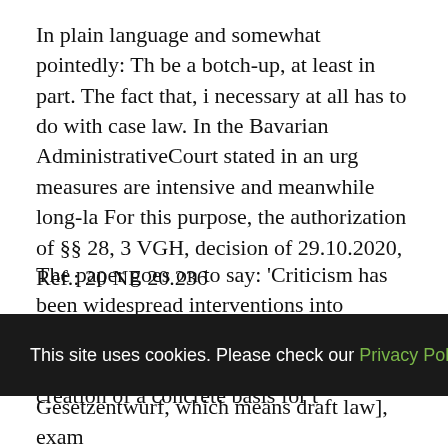In plain language and somewhat pointedly: Th be a botch-up, at least in part. The fact that, i necessary at all has to do with case law. In the Bavarian AdministrativeCourt stated in an urg measures are intensive and meanwhile long-la For this purpose, the authorization of §§ 28, 3 VGH, decision of 29.10.2020, Ref.: 20 NE 20.236
The paper goes on to say: 'Criticism has been widespread interventions into fundamental ri are based on the general clause of § 28 sectio called for the creation of a concrete basis for t
[Figure (screenshot): Cookie consent banner with dark background reading 'This site uses cookies. Please check our Privacy Policy before continuing.' with a blue X close button.]
Gesetzentwurf, which means draft law], exam